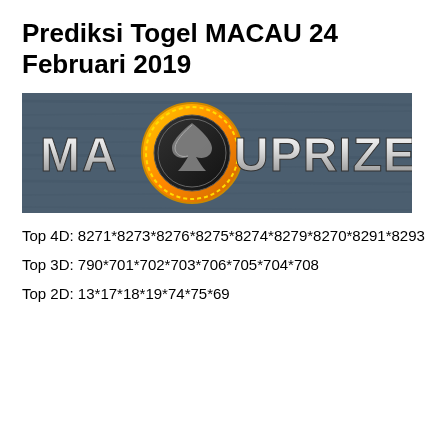Prediksi Togel MACAU 24 Februari 2019
[Figure (logo): MACAUPRIZE banner logo with metallic text on dark wooden background, featuring a poker chip/spade coin graphic between MA and AUPRIZE text]
Top 4D: 8271*8273*8276*8275*8274*8279*8270*8291*8293
Top 3D: 790*701*702*703*706*705*704*708
Top 2D: 13*17*18*19*74*75*69